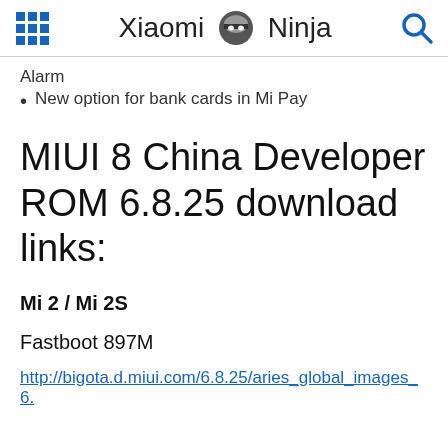Xiaomi Ninja
Alarm
New option for bank cards in Mi Pay
MIUI 8 China Developer ROM 6.8.25 download links:
Mi 2 / Mi 2S
Fastboot 897M
http://bigota.d.miui.com/6.8.25/aries_global_images_6.